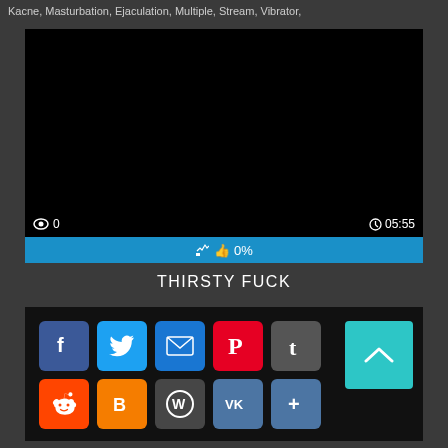Kacne, Masturbation, Ejaculation, Multiple, Stream, Vibrator,
[Figure (screenshot): Black video player thumbnail with view count '0' and duration '05:55' at bottom, and a blue rating bar showing '0%' below]
THIRSTY FUCK
[Figure (infographic): Social sharing icons panel on black background: Facebook, Twitter, Email, Pinterest, Tumblr in top row; Reddit, Blogger, WordPress, VK, More in bottom row; cyan scroll-to-top button on right]